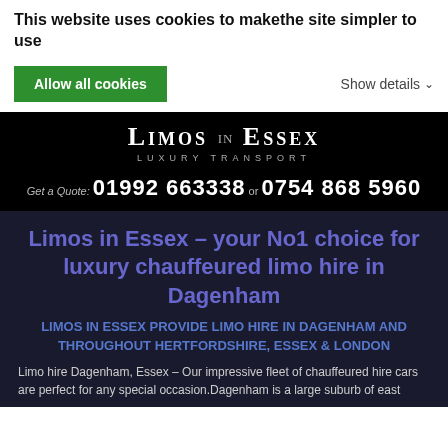This website uses cookies to makethe site simpler to use
Allow all cookies
Show details
[Figure (logo): Limos in Essex Luxury Transport logo in white text on black background]
Get a Quote: 01992 663338 or 0754 868 5960
Limos in Essex – your No1 choice for luxury chauffeured limo hire in Dagenham
LIMOS IN ESSEX PROVIDE LIMO HIRE IN DAGENHAM AND THROUGHOUT HERTFORDSHIRE, ESSEX & LONDON
Limo hire Dagenham, Essex – Our impressive fleet of chauffeured hire cars are perfect for any special occasion.Dagenham is a large suburb of east